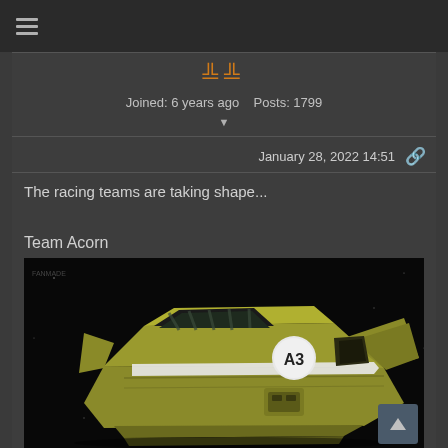☰ (hamburger menu icon)
🦅🦅 (crown/wing icons) Joined: 6 years ago  Posts: 1799
January 28, 2022 14:51 🔗
The racing teams are taking shape...
Team Acorn
[Figure (photo): 3D rendered image of a futuristic sci-fi racing spacecraft/hover vehicle with olive/yellow-green color scheme against a dark background, marked with 'A3' in a white circle on the side]